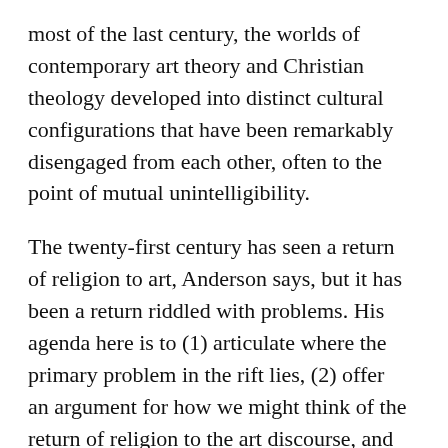most of the last century, the worlds of contemporary art theory and Christian theology developed into distinct cultural configurations that have been remarkably disengaged from each other, often to the point of mutual unintelligibility.
The twenty-first century has seen a return of religion to art, Anderson says, but it has been a return riddled with problems. His agenda here is to (1) articulate where the primary problem in the rift lies, (2) offer an argument for how we might think of the return of religion to the art discourse, and (3) suggest ways in which Christians can work productively in the rift.